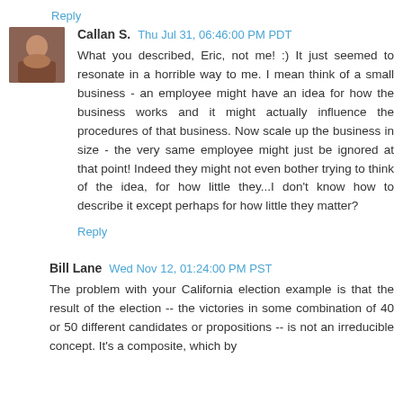Reply
Callan S.  Thu Jul 31, 06:46:00 PM PDT
What you described, Eric, not me! :) It just seemed to resonate in a horrible way to me. I mean think of a small business - an employee might have an idea for how the business works and it might actually influence the procedures of that business. Now scale up the business in size - the very same employee might just be ignored at that point! Indeed they might not even bother trying to think of the idea, for how little they...I don't know how to describe it except perhaps for how little they matter?
Reply
Bill Lane  Wed Nov 12, 01:24:00 PM PST
The problem with your California election example is that the result of the election -- the victories in some combination of 40 or 50 different candidates or propositions -- is not an irreducible concept. It's a composite, which by